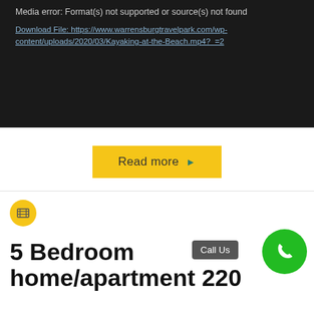[Figure (screenshot): Dark video player error box showing media error message and download file link]
Media error: Format(s) not supported or source(s) not found
Download File: https://www.warrensburgtravelpark.com/wp-content/uploads/2020/03/Kayaking-at-the-Beach.mp4?_=2
Read more ▶
[Figure (illustration): Yellow circle with film reel icon]
5 Bedroom home/apartment 220...